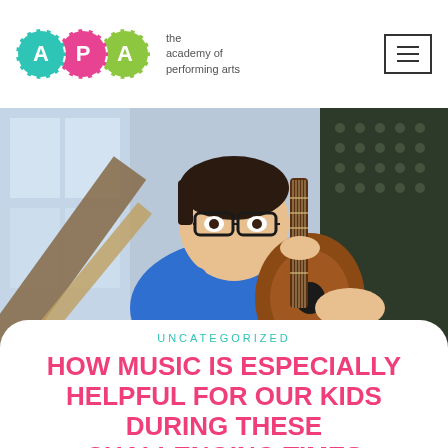[Figure (logo): Academy of Performing Arts logo with three colored circles (teal A, pink P, green A) and text 'the academy of performing arts']
[Figure (photo): A young boy with glasses wearing a blue polo shirt playing an acoustic guitar, focused on the instrument, with a music stand visible in the background]
UNCATEGORIZED
HOW MUSIC IS ESPECIALLY HELPFUL FOR OUR KIDS DURING THESE CHALLENGING TIMES